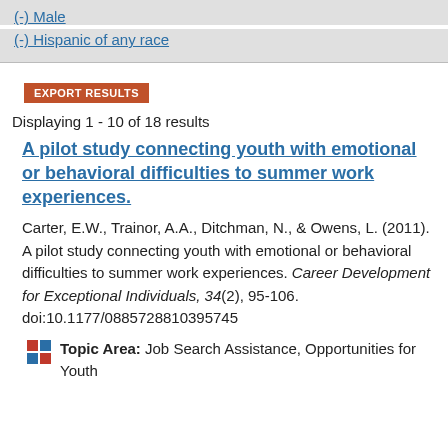(-) Male
(-) Hispanic of any race
EXPORT RESULTS
Displaying 1 - 10 of 18 results
A pilot study connecting youth with emotional or behavioral difficulties to summer work experiences.
Carter, E.W., Trainor, A.A., Ditchman, N., & Owens, L. (2011). A pilot study connecting youth with emotional or behavioral difficulties to summer work experiences. Career Development for Exceptional Individuals, 34(2), 95-106. doi:10.1177/0885728810395745
Topic Area: Job Search Assistance, Opportunities for Youth